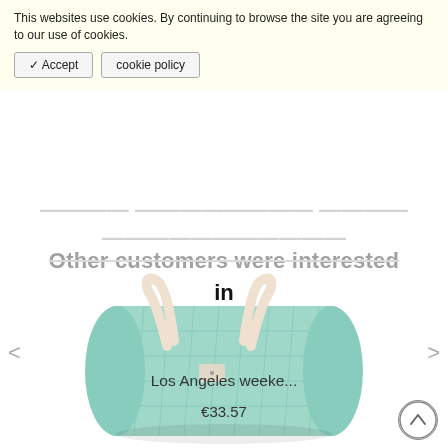This websites use cookies. By continuing to browse the site you are agreeing to our use of cookies.
✓ Accept
cookie policy
Other customers were interested in
[Figure (photo): A mint green quilted duffle bag with cream/beige handles, shown at a slight angle on a white background.]
Los Angeles weeke...
€33.57